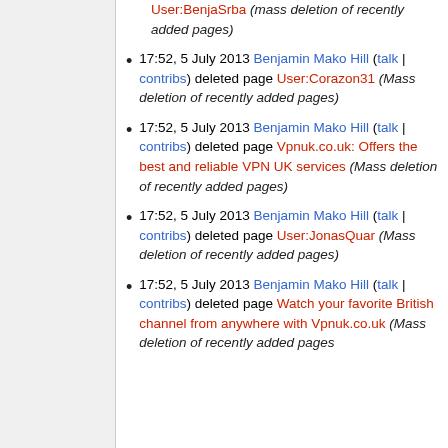User:BenjaSrba (mass deletion of recently added pages)
17:52, 5 July 2013 Benjamin Mako Hill (talk | contribs) deleted page User:Corazon31 (Mass deletion of recently added pages)
17:52, 5 July 2013 Benjamin Mako Hill (talk | contribs) deleted page Vpnuk.co.uk: Offers the best and reliable VPN UK services (Mass deletion of recently added pages)
17:52, 5 July 2013 Benjamin Mako Hill (talk | contribs) deleted page User:JonasQuar (Mass deletion of recently added pages)
17:52, 5 July 2013 Benjamin Mako Hill (talk | contribs) deleted page Watch your favorite British channel from anywhere with Vpnuk.co.uk (Mass deletion of recently added pages)